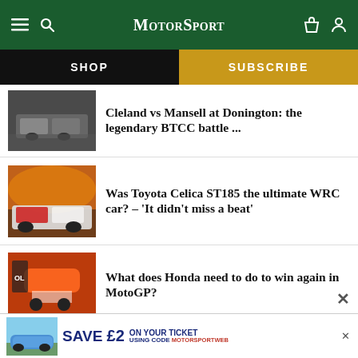MotorSport
SHOP
SUBSCRIBE
Cleland vs Mansell at Donington: the legendary BTCC battle ...
Was Toyota Celica ST185 the ultimate WRC car? – 'It didn't miss a beat'
What does Honda need to do to win again in MotoGP?
[Figure (photo): Racing cars on track - BTCC article thumbnail]
[Figure (photo): Toyota Celica ST185 rally car at sunset]
[Figure (photo): Honda Repsol MotoGP bike in pit lane]
[Figure (photo): Ad banner with Porsche 911 - SAVE £2 ON YOUR TICKET USING CODE MOTORSPORTWEB]